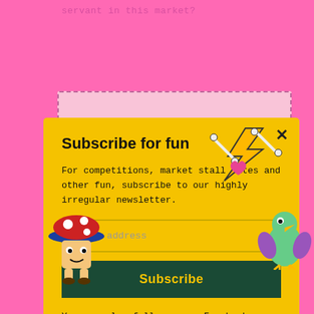servant in this market?
Subscribe for fun
For competitions, market stall dates and other fun, subscribe to our highly irregular newsletter.
Email address
Subscribe
You can also follow us on Facebook or Instagram